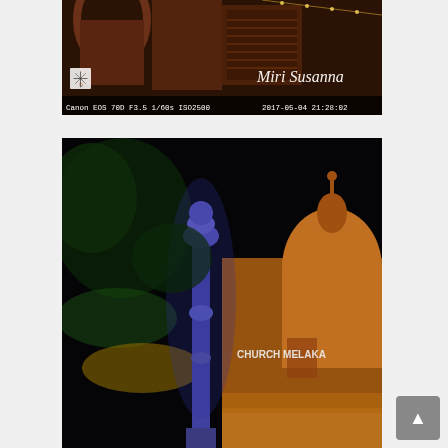[Figure (photo): Night photo of a building with red brick arches and shuttered windows, illuminated with warm light. A windmill logo and 'Miri Susanna' text overlay visible. Camera metadata at bottom: Canon EOS 70D F3.5 1/60s ISO2500, date 2017-05-04 21:28:02]
[Figure (photo): Night photo of a colonial-style church building labeled 'CHURCH MELAKA' with orange/golden illumination. A decorative column/pillar in the foreground lit with purple/blue light. Trees with green lighting visible on the left side. Very dark black sky background.]